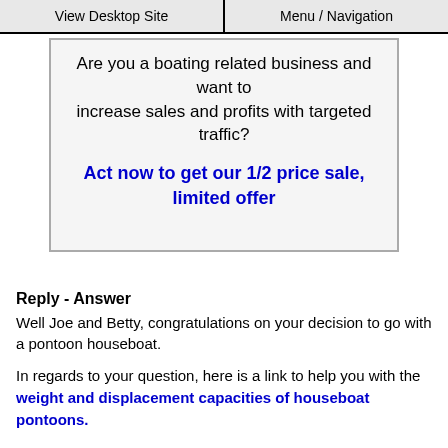View Desktop Site | Menu / Navigation
Are you a boating related business and want to increase sales and profits with targeted traffic? Act now to get our 1/2 price sale, limited offer
Reply - Answer
Well Joe and Betty, congratulations on your decision to go with a pontoon houseboat.
In regards to your question, here is a link to help you with the weight and displacement capacities of houseboat pontoons.